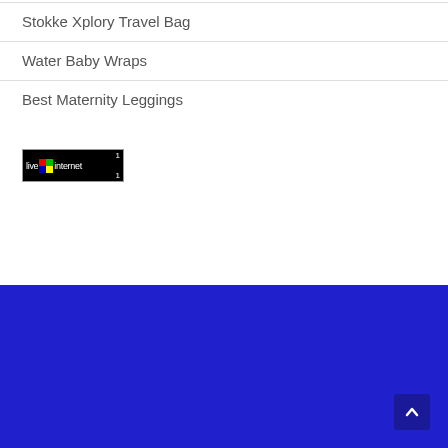Stokke Xplory Travel Bag
Water Baby Wraps
Best Maternity Leggings
[Figure (logo): LiveInternet badge/counter showing live|internet logo with numbers 1 and 1]
[Figure (other): Dark blue/navy footer bar with scroll-to-top button (arrow up icon) in bottom right corner]